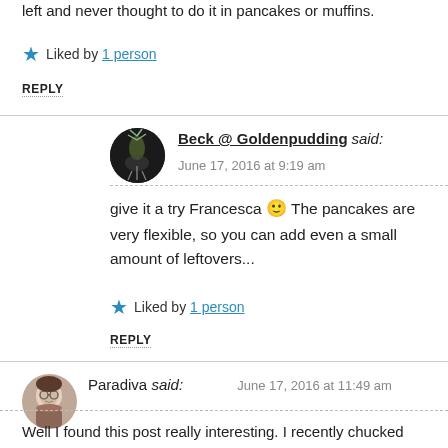left and never thought to do it in pancakes or muffins.
★ Liked by 1 person
REPLY
Beck @ Goldenpudding said: June 17, 2016 at 9:19 am
give it a try Francesca 🙂 The pancakes are very flexible, so you can add even a small amount of leftovers...
★ Liked by 1 person
REPLY
Paradiva said: June 17, 2016 at 11:49 am
Well I found this post really interesting. I recently chucked some left over porridge into pancakes, but overdid the quantity (there was a lot left over) and the